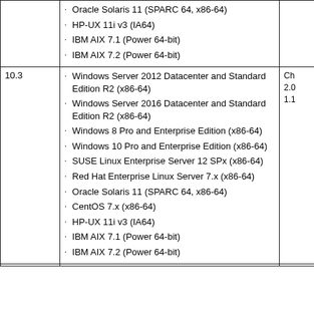| Version | Supported OS | Notes |
| --- | --- | --- |
|  | Oracle Solaris 11 (SPARC 64, x86-64)
HP-UX 11i v3 (IA64)
IBM AIX 7.1 (Power 64-bit)
IBM AIX 7.2 (Power 64-bit) |  |
| 10.3 | Windows Server 2012 Datacenter and Standard Edition R2 (x86-64)
Windows Server 2016 Datacenter and Standard Edition R2 (x86-64)
Windows 8 Pro and Enterprise Edition (x86-64)
Windows 10 Pro and Enterprise Edition (x86-64)
SUSE Linux Enterprise Server 12 SPx (x86-64)
Red Hat Enterprise Linux Server 7.x (x86-64)
Oracle Solaris 11 (SPARC 64, x86-64)
CentOS 7.x (x86-64)
HP-UX 11i v3 (IA64)
IBM AIX 7.1 (Power 64-bit)
IBM AIX 7.2 (Power 64-bit) | Ch
2.0
1.1 |